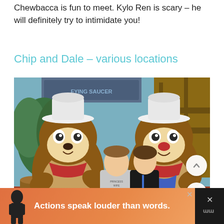Chewbacca is fun to meet. Kylo Ren is scary – he will definitely try to intimidate you!
Chip and Dale – various locations
[Figure (photo): Two people (a young man and a young woman wearing a medal) posing with Chip and Dale chipmunk characters in cowboy costumes at a Disney theme park outdoor location with wooden structures and barrels in the background.]
Actions speak louder than words.